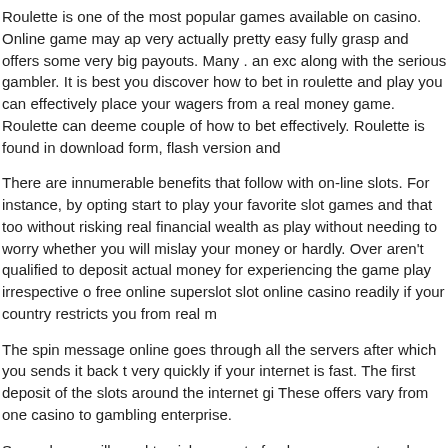Roulette is one of the most popular games available on casino. Online game may ap very actually pretty easy fully grasp and offers some very big payouts. Many . an exc along with the serious gambler. It is best you discover how to bet in roulette and play you can effectively place your wagers from a real money game. Roulette can deeme couple of how to bet effectively. Roulette is found in download form, flash version and
There are innumerable benefits that follow with on-line slots. For instance, by opting start to play your favorite slot games and that too without risking real financial wealth as play without needing to worry whether you will mislay your money or hardly. Over aren't qualified to deposit actual money for experiencing the game play irrespective o free online superslot slot online casino readily if your country restricts you from real m
The spin message online goes through all the servers after which you sends it back t very quickly if your internet is fast. The first deposit of the slots around the internet gi These offers vary from one casino to gambling enterprise.
Second, you will need to pick a way to fund your account and withdraw your takings. able to accomplish this, so read over everything very carefully, and select the option great thing in such a step their process, proven fact that the payment option you sele other online casino opt for to join.
Another important factor of these slot machines is that, if you play with maximum coi you cannot afford to spend playtime with a high denomination machine, select a coffe have to continuously keep on playing to win. Some slot machines pay bonuses for pl